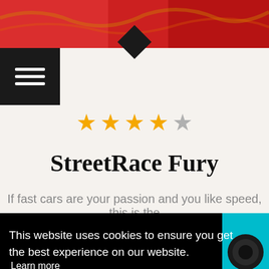[Figure (photo): Top banner image showing red racing cars]
[Figure (infographic): Star rating showing 4.5 out of 5 stars in orange/gold color]
StreetRace Fury
If fast cars are your passion and you like speed, this is the
This website uses cookies to ensure you get the best experience on our website. Learn more Got it!